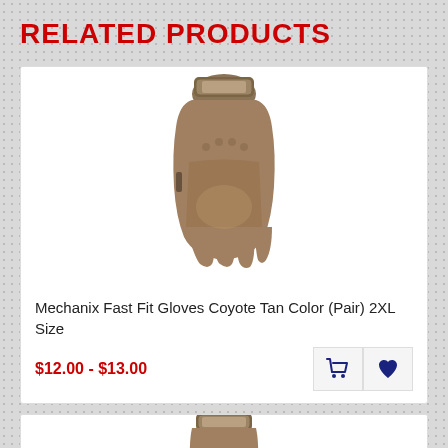RELATED PRODUCTS
[Figure (photo): Photo of a Mechanix Fast Fit Glove in Coyote Tan color, showing the back of the glove with knuckle texture and wrist strap, fingers pointing downward.]
Mechanix Fast Fit Gloves Coyote Tan Color (Pair) 2XL Size
$12.00 - $13.00
[Figure (photo): Partial photo of a second Mechanix Fast Fit Glove in Coyote Tan color, showing the top portion with wrist strap, cropped at the bottom of the page.]